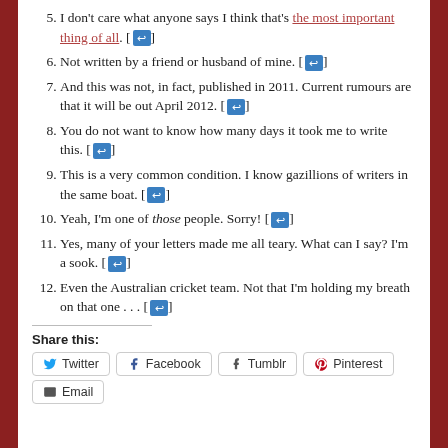5. I don't care what anyone says I think that's the most important thing of all. [↩]
6. Not written by a friend or husband of mine. [↩]
7. And this was not, in fact, published in 2011. Current rumours are that it will be out April 2012. [↩]
8. You do not want to know how many days it took me to write this. [↩]
9. This is a very common condition. I know gazillions of writers in the same boat. [↩]
10. Yeah, I'm one of those people. Sorry! [↩]
11. Yes, many of your letters made me all teary. What can I say? I'm a sook. [↩]
12. Even the Australian cricket team. Not that I'm holding my breath on that one . . . [↩]
Share this:
Twitter  Facebook  Tumblr  Pinterest  Email